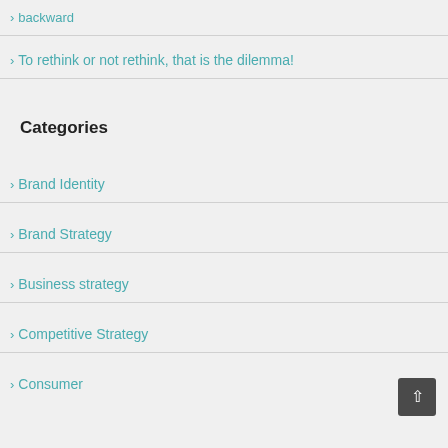backward
To rethink or not rethink, that is the dilemma!
Categories
Brand Identity
Brand Strategy
Business strategy
Competitive Strategy
Consumer